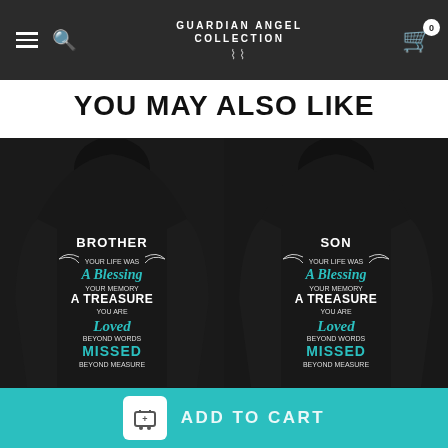Guardian Angel Collection — navigation bar with hamburger menu, search, logo, and cart (0)
YOU MAY ALSO LIKE
[Figure (photo): Two black hoodies shown from the back. Left hoodie reads: BROTHER YOUR LIFE WAS A Blessing YOUR MEMORY A TREASURE YOU ARE Loved BEYOND WORDS MISSED BEYOND MEASURE. Right hoodie reads: SON YOUR LIFE WAS A Blessing YOUR MEMORY A TREASURE YOU ARE Loved BEYOND WORDS MISSED BEYOND MEASURE. Both with teal and white graphic text and angel wings design.]
ADD TO CART